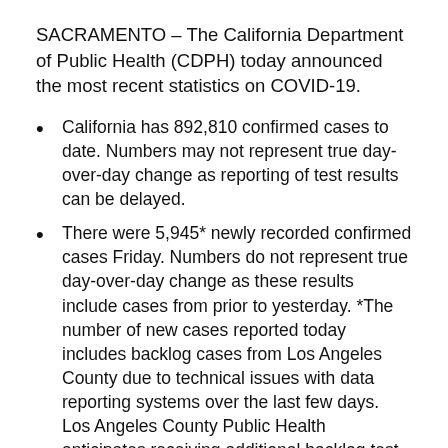SACRAMENTO – The California Department of Public Health (CDPH) today announced the most recent statistics on COVID-19.
California has 892,810 confirmed cases to date. Numbers may not represent true day-over-day change as reporting of test results can be delayed.
There were 5,945* newly recorded confirmed cases Friday. Numbers do not represent true day-over-day change as these results include cases from prior to yesterday. *The number of new cases reported today includes backlog cases from Los Angeles County due to technical issues with data reporting systems over the last few days. Los Angeles County Public Health anticipates receiving additional backlog test